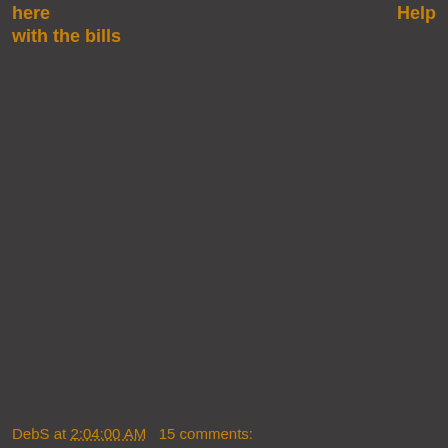here
with the bills
Help
DebS at 2:04:00 AM   15 comments: